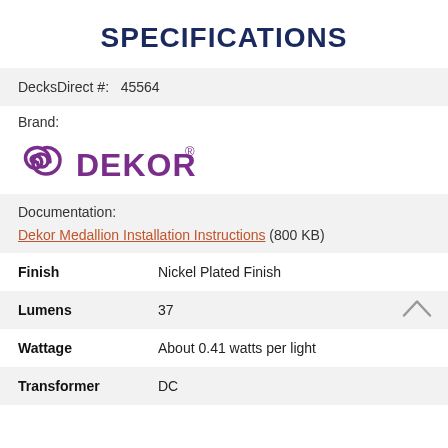SPECIFICATIONS
| DecksDirect #: | 45564 |
| Brand: | DEKOR |
| Documentation: | Dekor Medallion Installation Instructions (800 KB) |
| Finish | Nickel Plated Finish |
| Lumens | 37 |
| Wattage | About 0.41 watts per light |
| Transformer | DC |